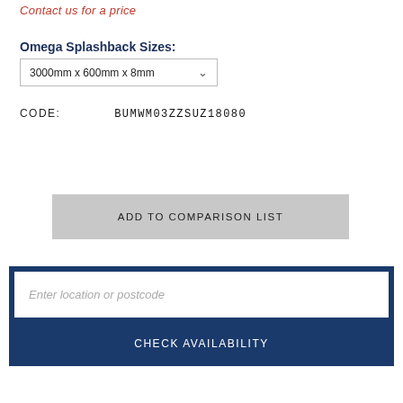Contact us for a price
Omega Splashback Sizes:
3000mm x 600mm x 8mm
CODE:   BUMWM03ZZSUZ18080
ADD TO COMPARISON LIST
Enter location or postcode
CHECK AVAILABILITY